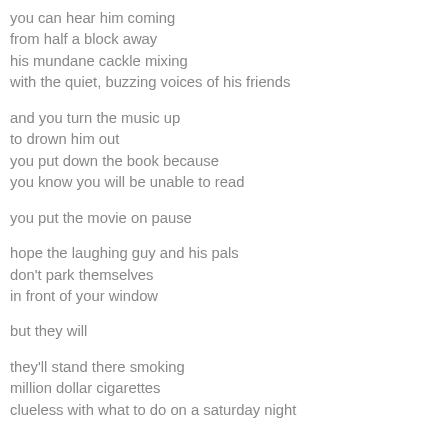you can hear him coming
from half a block away
his mundane cackle mixing
with the quiet, buzzing voices of his friends

and you turn the music up
to drown him out
you put down the book because
you know you will be unable to read

you put the movie on pause

hope the laughing guy and his pals
don't park themselves
in front of your window

but they will

they'll stand there smoking
million dollar cigarettes
clueless with what to do on a saturday night